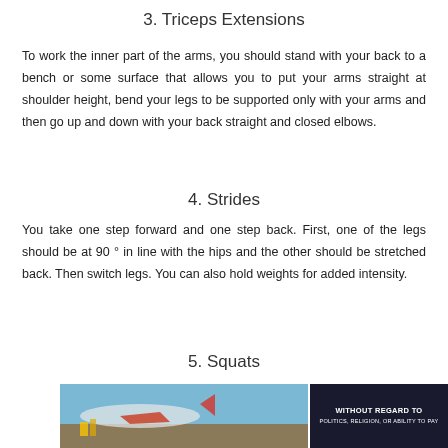3. Triceps Extensions
To work the inner part of the arms, you should stand with your back to a bench or some surface that allows you to put your arms straight at shoulder height, bend your legs to be supported only with your arms and then go up and down with your back straight and closed elbows.
4. Strides
You take one step forward and one step back. First, one of the legs should be at 90 ° in line with the hips and the other should be stretched back. Then switch legs. You can also hold weights for added intensity.
5. Squats
[Figure (photo): Advertisement image showing an airplane being loaded with cargo, with a dark banner overlay reading WITHOUT REGARD TO POLITICS, RELIGION, OR ABILITY TO PAY]